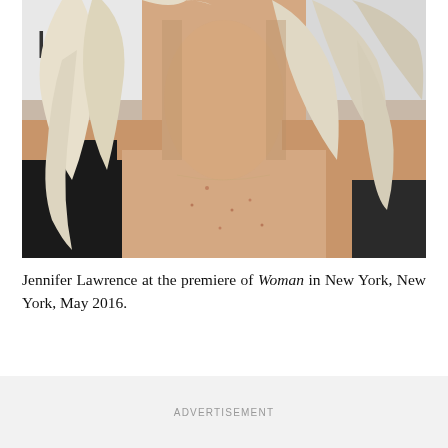[Figure (photo): Close-up photo of a woman with platinum blonde shoulder-length hair, wearing a black top, photographed from the neck/décolletage up. Background shows partial text 'IA' and a white/grey step-and-repeat backdrop.]
Jennifer Lawrence at the premiere of Woman in New York, New York, May 2016.
ADVERTISEMENT